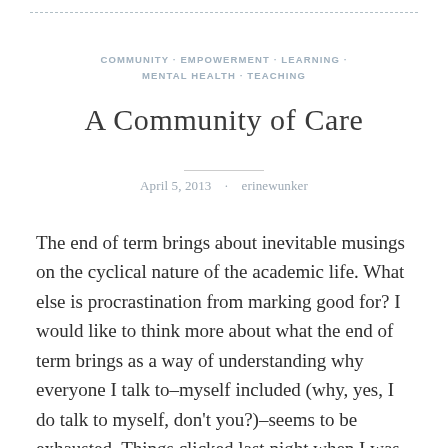COMMUNITY · EMPOWERMENT · LEARNING · MENTAL HEALTH · TEACHING
A Community of Care
April 5, 2013 · erinewunker
The end of term brings about inevitable musings on the cyclical nature of the academic life. What else is procrastination from marking good for? I would like to think more about what the end of term brings as a way of understanding why everyone I talk to–myself included (why, yes, I do talk to myself, don't you?)–seems to be exhausted. Things clicked last night when I was